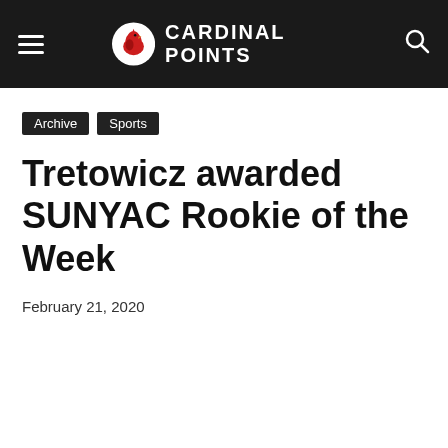CARDINAL POINTS
Archive  Sports
Tretowicz awarded SUNYAC Rookie of the Week
February 21, 2020